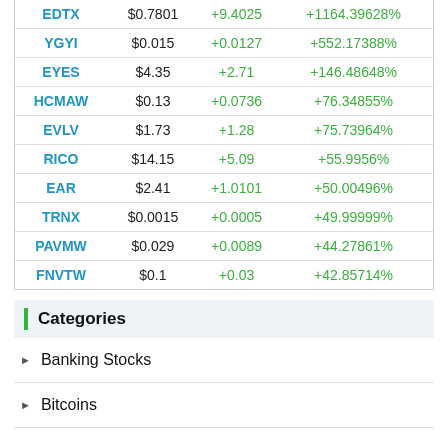| Ticker | Price | Change | % Change |
| --- | --- | --- | --- |
| EDTX | $0.7801 | +9.4025 | +1164.39628% |
| YGYI | $0.015 | +0.0127 | +552.17388% |
| EYES | $4.35 | +2.71 | +146.48648% |
| HCMAW | $0.13 | +0.0736 | +76.34855% |
| EVLV | $1.73 | +1.28 | +75.73964% |
| RICO | $14.15 | +5.09 | +55.9956% |
| EAR | $2.41 | +1.0101 | +50.00496% |
| TRNX | $0.0015 | +0.0005 | +49.99999% |
| PAVMW | $0.029 | +0.0089 | +44.27861% |
| FNVTW | $0.1 | +0.03 | +42.85714% |
Categories
Banking Stocks
Bitcoins